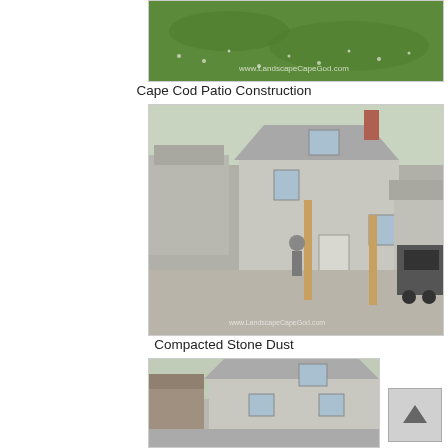[Figure (photo): Aerial view of a grassy hillside/slope with a website watermark 'www.LandscapeCapeGod.com'. Top portion of page.]
Cape Cod Patio Construction
[Figure (photo): Construction photo showing a Cape Cod style house with workers and compacted stone dust in the driveway/patio area. A truck is visible on the right side.]
Compacted Stone Dust
[Figure (photo): Another Cape Cod style house exterior photo showing construction in progress. Partial view at bottom of page.]